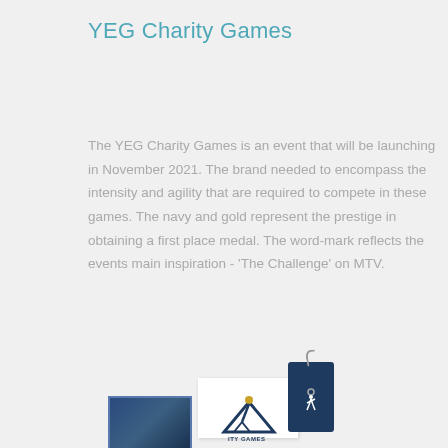YEG Charity Games
The YEG Charity Games is an event that will be launching in November 2021. The brand needed to encompass the intensity and agility that are required to compete in these games. The navy and gold represent the prestige in obtaining a first place medal. The word-mark reflects the events main inspiration - 'The Challenge' on MTV.
[Figure (photo): A branded merchandise mockup showing navy blue hang tag with a runner/athletic logo icon, a white card with the YEG Charity Games logo, and a photo strip, arranged on a muted teal background. A white circular back-to-top button with a chevron is partially visible on the right.]